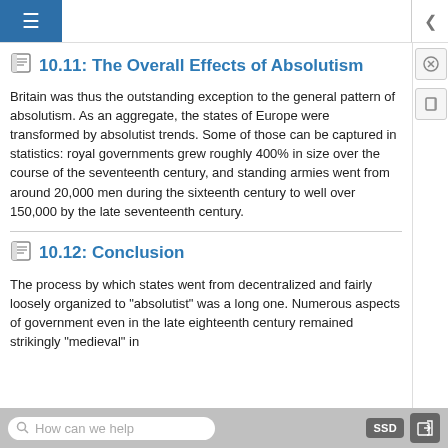≡
10.11: The Overall Effects of Absolutism
Britain was thus the outstanding exception to the general pattern of absolutism. As an aggregate, the states of Europe were transformed by absolutist trends. Some of those can be captured in statistics: royal governments grew roughly 400% in size over the course of the seventeenth century, and standing armies went from around 20,000 men during the sixteenth century to well over 150,000 by the late seventeenth century.
10.12: Conclusion
The process by which states went from decentralized and fairly loosely organized to "absolutist" was a long one. Numerous aspects of government even in the late eighteenth century remained strikingly "medieval" in
How can we help